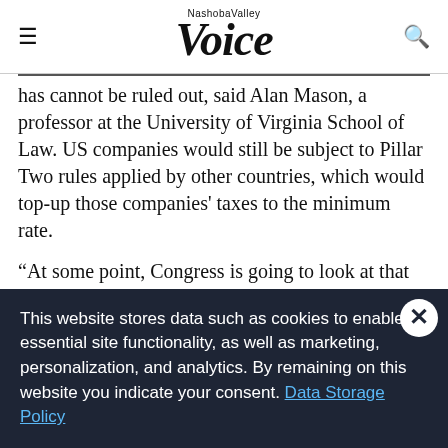Nashoba Valley Voice
has cannot be ruled out, said Alan Mason, a professor at the University of Virginia School of Law. US companies would still be subject to Pillar Two rules applied by other countries, which would top-up those companies' taxes to the minimum rate.
“At some point, Congress is going to look at that and say ‘we are leaving money on the table,’” Mason said.
Yellen expects to advance the global effort to implement the deal at a meeting of finance chiefs from the Group of Seven
This website stores data such as cookies to enable essential site functionality, as well as marketing, personalization, and analytics. By remaining on this website you indicate your consent. Data Storage Policy